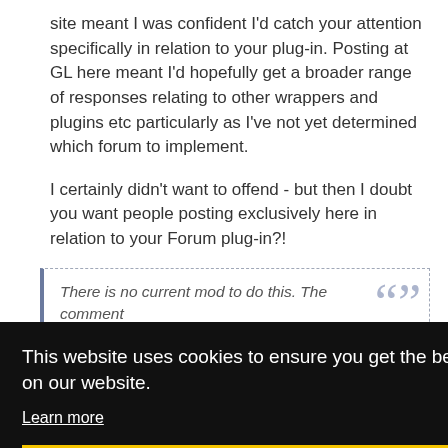site meant I was confident I'd catch your attention specifically in relation to your plug-in. Posting at GL here meant I'd hopefully get a broader range of responses relating to other wrappers and plugins etc particularly as I've not yet determined which forum to implement.

I certainly didn't want to offend - but then I doubt you want people posting exclusively here in relation to your Forum plug-in?!
There is no current mod to do this. The comment
This website uses cookies to ensure you get the best experience on our website.
Learn more
Got it!